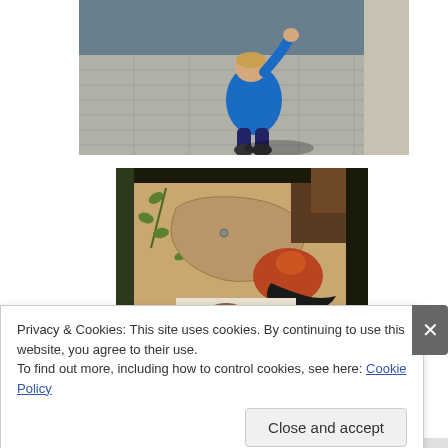[Figure (photo): Aerial view of a toddler in a blue jacket on a paved outdoor area, photographed from above]
[Figure (photo): A children's book or artwork on tan/brown paper showing illustrated animals including a bird with red and dark markings, green leaf branches, and other animal figures]
Privacy & Cookies: This site uses cookies. By continuing to use this website, you agree to their use.
To find out more, including how to control cookies, see here: Cookie Policy
Close and accept